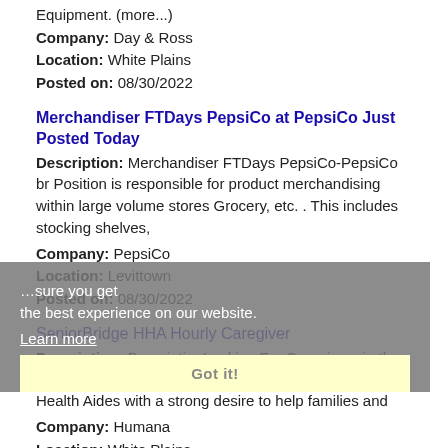Equipment. (more...)
Company: Day & Ross
Location: White Plains
Posted on: 08/30/2022
Merchandiser FTDays PepsiCo at PepsiCo Just Posted Today
Description: Merchandiser FTDays PepsiCo-PepsiCo br Position is responsible for product merchandising within large volume stores Grocery, etc. . This includes stocking shelves,
Company: PepsiCo
Location: Levittown
Posted on: 08/30/2022
SeniorBridge HHA Hourly Caregiver
Description: DescriptionLooking For Caregivers in the White Plains Area SeniorBridge is hiring for Home Health Aides with a strong desire to help families and
Company: Humana
Location: White Plains
Posted on: 08/30/2022
Salary in Yonkers, New York Area | More details for Yonkers, New York, Jobs |Salary